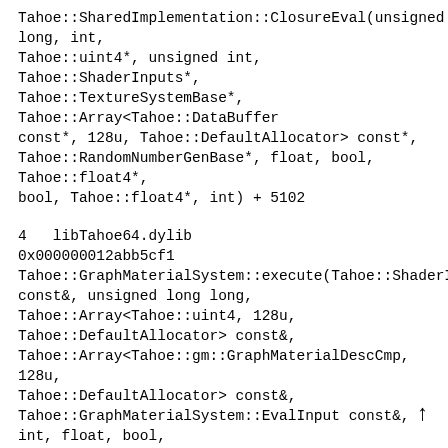Tahoe::SharedImplementation::ClosureEval(unsigned long, int, Tahoe::uint4*, unsigned int, Tahoe::ShaderInputs*, Tahoe::TextureSystemBase*, Tahoe::Array<Tahoe::DataBuffer const*, 128u, Tahoe::DefaultAllocator> const*, Tahoe::RandomNumberGenBase*, float, bool, Tahoe::float4*, bool, Tahoe::float4*, int) + 5102
4   libTahoe64.dylib         0x000000012abb5cf1 Tahoe::GraphMaterialSystem::execute(Tahoe::ShaderInputs const&, unsigned long long, Tahoe::Array<Tahoe::uint4, 128u, Tahoe::DefaultAllocator> const&, Tahoe::Array<Tahoe::gm::GraphMaterialDescCmp, 128u, Tahoe::DefaultAllocator> const&, Tahoe::GraphMaterialSystem::EvalInput const&, int, float, bool, Tahoe::float4*) + 145
5   libTahoe64.dylib         0x000000012ac92b74 Tahoe::RtEmbreePtImpl::render(Tahoe::RtEmbree*, Tahoe::WorldRT const*, Tahoe::GraphMaterialSystem::EvalInput*, Tahoe::int2, Tahoe::int2, Tahoe::int2, Tahoe::Array<Tahoe::float4, 128u, Tahoe::DefaultAllocator>, Tahoe::int2 int int ...